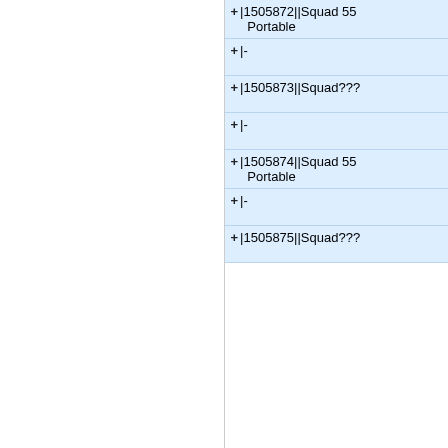|1505872||Squad 55 Portable
|-
|1505873||Squad???
|-
|1505874||Squad 55 Portable
|-
|1505875||Squad???
|}
|}
Line 89:
Line 277:
|}
|}